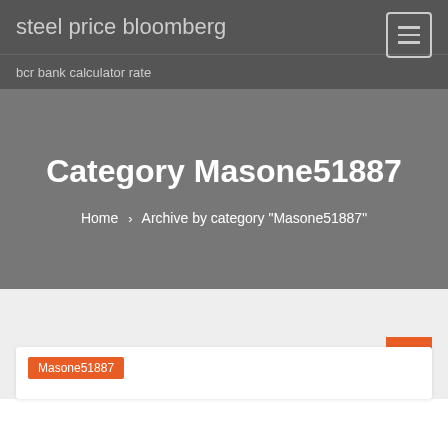steel price bloomberg
bcr bank calculator rate
Category Masone51887
Home > Archive by category "Masone51887"
Masone51887